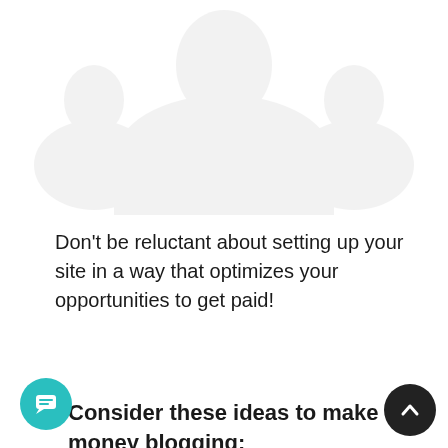[Figure (illustration): Faded/watermark style image of a person or figure in the upper portion of the page, very light gray on white background]
Don’t be reluctant about setting up your site in a way that optimizes your opportunities to get paid!
7 Consider these ideas to make money blogging: